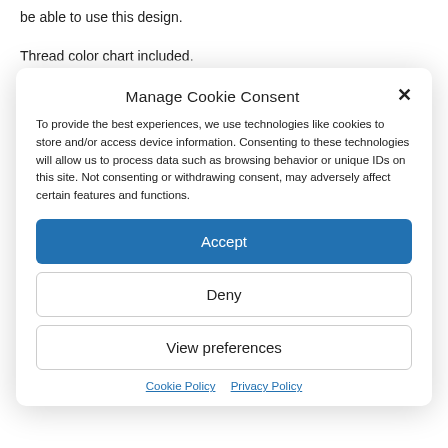be able to use this design.
Thread color chart included.
Manage Cookie Consent
To provide the best experiences, we use technologies like cookies to store and/or access device information. Consenting to these technologies will allow us to process data such as browsing behavior or unique IDs on this site. Not consenting or withdrawing consent, may adversely affect certain features and functions.
Accept
Deny
View preferences
Cookie Policy  Privacy Policy